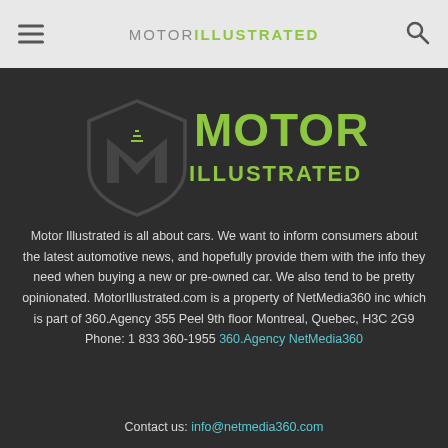MOTOR ILLUSTRATED
[Figure (logo): Motor Illustrated logo — shield/hexagon graphic in grey with 'MOTOR' in large lime green text and 'ILLUSTRATED' in smaller lime green text below]
Motor Illustrated is all about cars. We want to inform consumers about the latest automotive news, and hopefully provide them with the info they need when buying a new or pre-owned car. We also tend to be pretty opinionated. MotorIllustrated.com is a property of NetMedia360 inc which is part of 360.Agency 355 Peel 9th floor Montreal, Quebec, H3C 2G9 Phone: 1 833 360-1955 360.Agency NetMedia360
Contact us: info@netmedia360.com